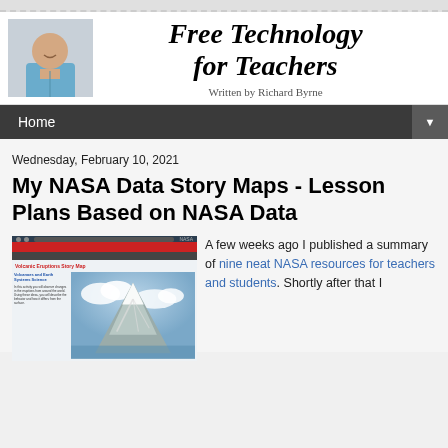Free Technology for Teachers
Written by Richard Byrne
Home
Wednesday, February 10, 2021
My NASA Data Story Maps - Lesson Plans Based on NASA Data
[Figure (screenshot): Screenshot of a NASA volcanic eruptions story map showing a satellite image of a volcano with text on the left side]
A few weeks ago I published a summary of nine neat NASA resources for teachers and students. Shortly after that I